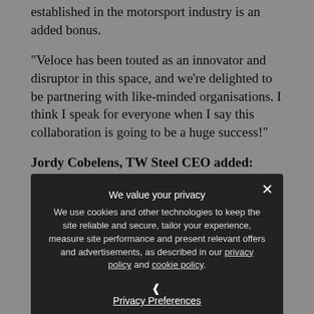established in the motorsport industry is an added bonus.
“Veloce has been touted as an innovator and disruptor in this space, and we’re delighted to be partnering with like-minded organisations. I think I speak for everyone when I say this collaboration is going to be a huge success!”
Jordy Cobelens, TW Steel CEO added:
“Having worked with several Formula 1 teams and numerous motorsport organisations, it’s a natural… to transition into… electric motorsport.
“The Veloce-branded wa… re planning to release will be a fun project for us. We…also be accessing two…
We value your privacy
We use cookies and other technologies to keep the site reliable and secure, tailor your experience, measure site performance and present relevant offers and advertisements, as described in our privacy policy and cookie policy.
Privacy Preferences
I Agree